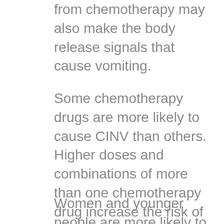from chemotherapy may also make the body release signals that cause vomiting.
Some chemotherapy drugs are more likely to cause CINV than others. Higher doses and combinations of more than one chemotherapy drug increase the risk of CINV.
Women and younger people are more likely to get CINV than men and older people. Genetic differences can also make a person